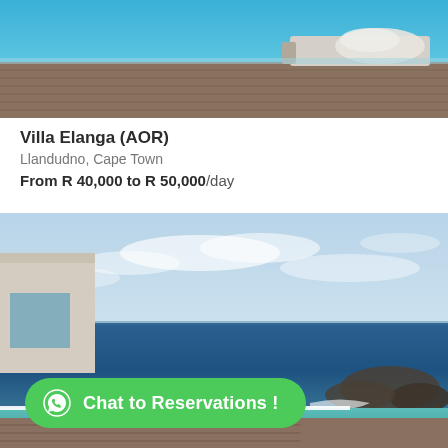[Figure (photo): Top portion of a luxury villa pool deck with wooden decking, blue pool water, and a lounge chair with white towel]
Villa Elanga (AOR)
Llandudno, Cape Town
From R 40,000 to R 50,000/day
[Figure (photo): Infinity pool overlooking the Atlantic Ocean on a partly cloudy day, with rocky coastline visible, villa architecture on the left]
Chat to Reservations !